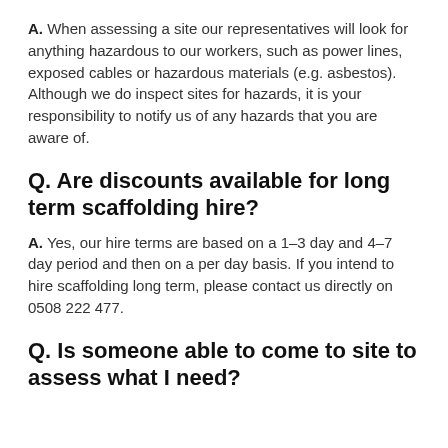A. When assessing a site our representatives will look for anything hazardous to our workers, such as power lines, exposed cables or hazardous materials (e.g. asbestos). Although we do inspect sites for hazards, it is your responsibility to notify us of any hazards that you are aware of.
Q. Are discounts available for long term scaffolding hire?
A. Yes, our hire terms are based on a 1–3 day and 4–7 day period and then on a per day basis. If you intend to hire scaffolding long term, please contact us directly on 0508 222 477.
Q. Is someone able to come to site to assess what I need?